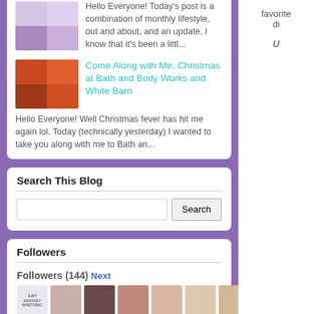Hello Everyone! Today's post is a combination of monthly lifestyle, out and about, and an update. I know that it's been a littl...
Come Along with Me: Christmas at Bath and Body Works and White Barn
Hello Everyone! Well Christmas fever has hit me again lol. Today (technically yesterday) I wanted to take you along with me to Bath an...
Search This Blog
Followers
Followers (144) Next